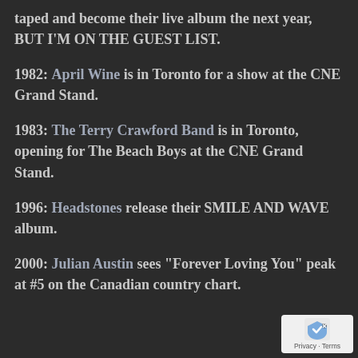taped and become their live album the next year, BUT I'M ON THE GUEST LIST.
1982: April Wine is in Toronto for a show at the CNE Grand Stand.
1983: The Terry Crawford Band is in Toronto, opening for The Beach Boys at the CNE Grand Stand.
1996: Headstones release their SMILE AND WAVE album.
2000: Julian Austin sees "Forever Loving You" peak at #5 on the Canadian country chart.